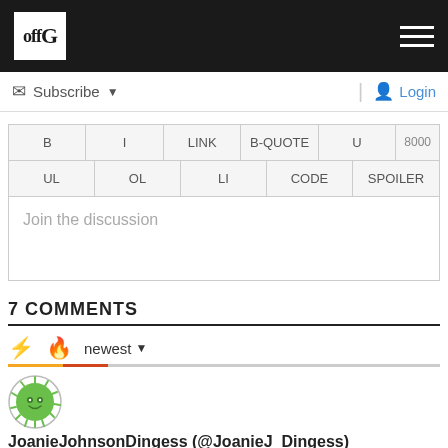offG (logo) | navigation hamburger menu
Subscribe ▼ | Login
B | I | LINK | B-QUOTE | U | 8000
UL | OL | LI | CODE | SPOILER
Join the discussion
7 COMMENTS
⚡ 🔥 newest ▼
[Figure (illustration): User avatar — green cartoon virus/bacteria circle icon]
JoanieJohnsonDingess (@JoanieJ_Dingess)
Mar 19, 2016 9:44 AM
Wonder why it seems that everybody talking like this, seems to